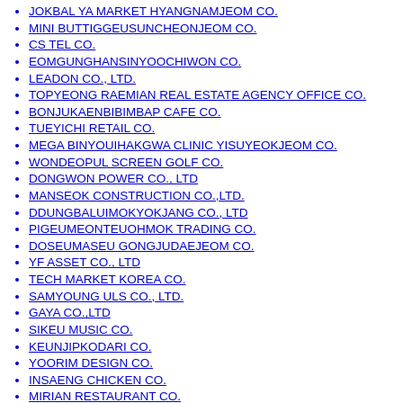JOKBAL YA MARKET HYANGNAMJEOM CO.
MINI BUTTIGGEUSUNCHEONJEOM CO.
CS TEL CO.
EOMGUNGHANSINYOOCHIWON CO.
LEADON CO., LTD.
TOPYEONG RAEMIAN REAL ESTATE AGENCY OFFICE CO.
BONJUKAENBIBIMBAP CAFE CO.
TUEYICHI RETAIL CO.
MEGA BINYOUIHAKGWA CLINIC YISUYEOKJEOM CO.
WONDEOPUL SCREEN GOLF CO.
DONGWON POWER CO., LTD
MANSEOK CONSTRUCTION CO.,LTD.
DDUNGBALUIMOKYOKJANG CO., LTD
PIGEUMEONTEUOHMOK TRADING CO.
DOSEUMASEU GONGJUDAEJEOM CO.
YF ASSET CO., LTD
TECH MARKET KOREA CO.
SAMYOUNG ULS CO., LTD.
GAYA CO.,LTD
SIKEU MUSIC CO.
KEUNJIPKODARI CO.
YOORIM DESIGN CO.
INSAENG CHICKEN CO.
MIRIAN RESTAURANT CO.